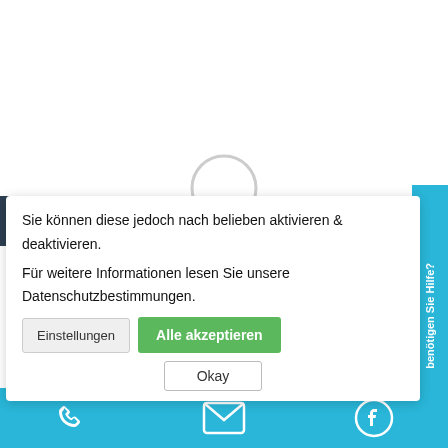[Figure (screenshot): Loading spinner circle outline in center of white area]
Cookies helfen uns bei der Bereitstellung unserer Inhalte und Dienste. Durch die weitere Nutzung der Webseite stimmen Sie der Verwendung von Cookies zu.
Sie können diese jedoch nach belieben aktivieren & deaktivieren.
Für weitere Informationen lesen Sie unsere Datenschutzbestimmungen.
Einstellungen
Alle akzeptieren
€ 25 Rabatt auf unser Kundendienstpaket im August
Herzlich Willkommen bei HiCSW
Okay
benötigen Sie Hilfe?